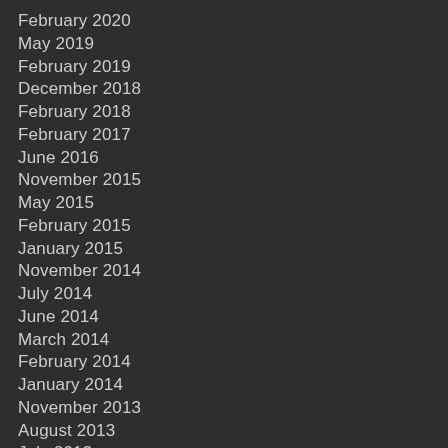February 2020
May 2019
February 2019
December 2018
February 2018
February 2017
June 2016
November 2015
May 2015
February 2015
January 2015
November 2014
July 2014
June 2014
March 2014
February 2014
January 2014
November 2013
August 2013
July 2013